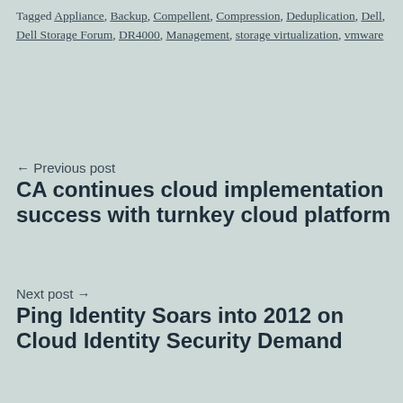Tagged Appliance, Backup, Compellent, Compression, Deduplication, Dell, Dell Storage Forum, DR4000, Management, storage virtualization, vmware
← Previous post
CA continues cloud implementation success with turnkey cloud platform
Next post →
Ping Identity Soars into 2012 on Cloud Identity Security Demand